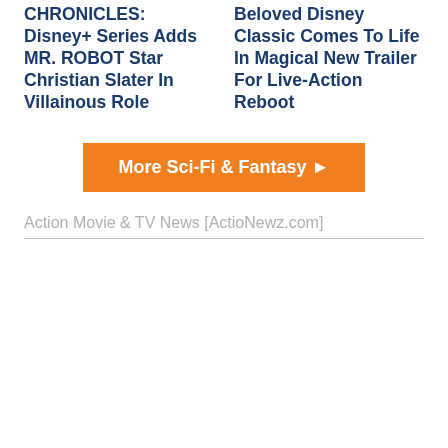CHRONICLES: Disney+ Series Adds MR. ROBOT Star Christian Slater In Villainous Role
Beloved Disney Classic Comes To Life In Magical New Trailer For Live-Action Reboot
More Sci-Fi & Fantasy ►
Action Movie & TV News [ActioNewz.com]